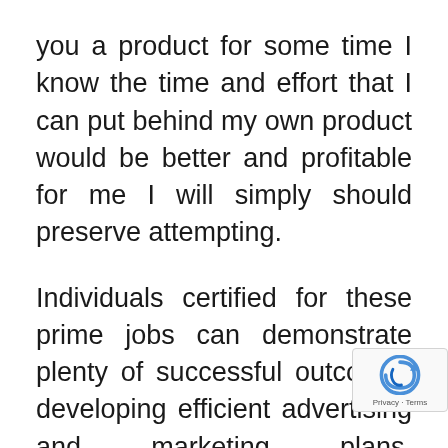you a product for some time I know the time and effort that I can put behind my own product would be better and profitable for me I will simply should preserve attempting.
Individuals certified for these prime jobs can demonstrate plenty of successful outcomes developing efficient advertising and marketing plans, identifying/assessing adjustments in the firm's advertising setting, and in evaluating alternatives and threats to their firm's position out t based on evaluation/analysis